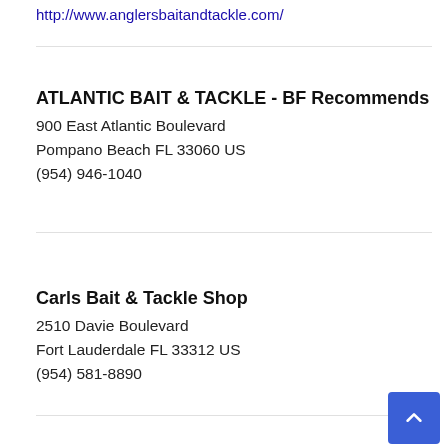http://www.anglersbaitandtackle.com/
ATLANTIC BAIT & TACKLE - BF Recommends
900 East Atlantic Boulevard
Pompano Beach FL 33060 US
(954) 946-1040
Carls Bait & Tackle Shop
2510 Davie Boulevard
Fort Lauderdale FL 33312 US
(954) 581-8890